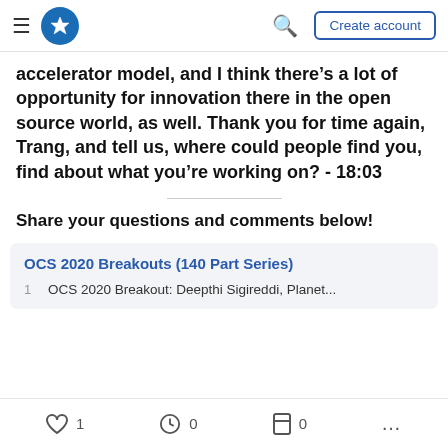DEV Community header with hamburger menu, logo, search, and Create account button
accelerator model, and I think there’s a lot of opportunity for innovation there in the open source world, as well. Thank you for time again, Trang, and tell us, where could people find you, find about what you’re working on? - 18:03
Share your questions and comments below!
OCS 2020 Breakouts (140 Part Series)
1   OCS 2020 Breakout: Deepthi Sigireddi, Planet...
Like 1  Unicorn 0  Bookmark 0  More